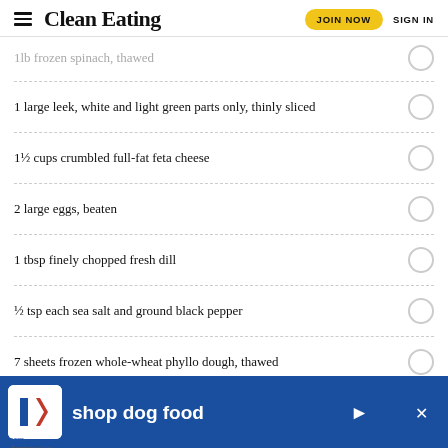Clean Eating | JOIN NOW | SIGN IN
1lb frozen spinach, thawed
1 large leek, white and light green parts only, thinly sliced
1½ cups crumbled full-fat feta cheese
2 large eggs, beaten
1 tbsp finely chopped fresh dill
½ tsp each sea salt and ground black pepper
7 sheets frozen whole-wheat phyllo dough, thawed
2 tbsp ol…
[Figure (infographic): Hill's pet nutrition advertisement banner: Hill's logo on white box, blue background, text 'shop dog food' with arrow, close button]